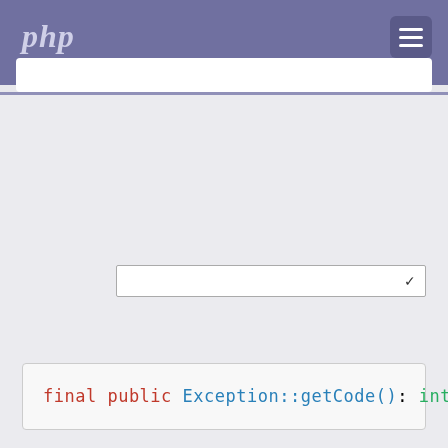php
final public Exception::getCode(): int